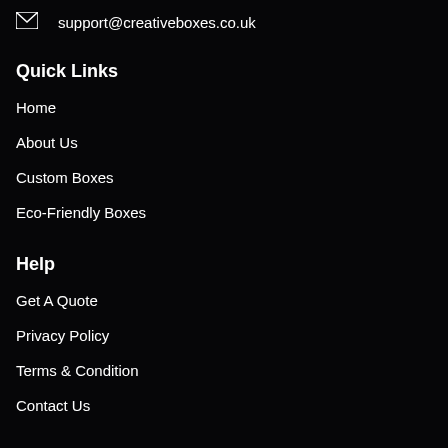support@creativeboxes.co.uk
Quick Links
Home
About Us
Custom Boxes
Eco-Friendly Boxes
Help
Get A Quote
Privacy Policy
Terms & Condition
Contact Us